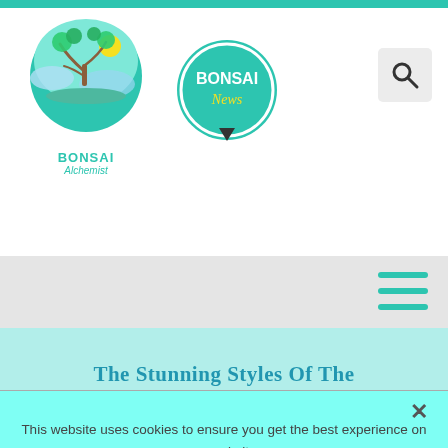[Figure (logo): Bonsai Alchemist logo — circular green/teal badge with a bonsai tree illustration, yellow sun. Text reads BONSAI Alchemist below in teal and green.]
[Figure (logo): Bonsai News circular badge — teal circle with white border, BONSAI in white bold text and News in yellow italic, small arrow/cursor icon below.]
[Figure (other): Search icon — magnifying glass symbol in a light gray rounded square button.]
[Figure (other): Hamburger menu icon — three horizontal teal lines stacked on a light gray navigation bar.]
The Stunning Styles Of The
This website uses cookies to ensure you get the best experience on our website.